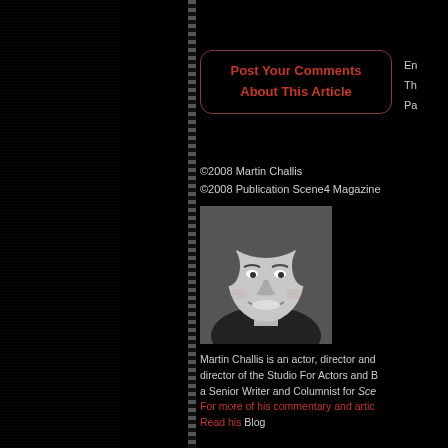[Figure (other): Dark left panel with horizontal line texture]
Post Your Comments About This Article
Em
Th
Pa
©2008 Martin Challis
©2008 Publication Scene4 Magazine
[Figure (photo): Black and white headshot photo of Martin Challis, smiling man]
Martin Challis is an actor, director and director of the Studio For Actors and B a Senior Writer and Columnist for Sce For more of his commentary and artic Read his Blog